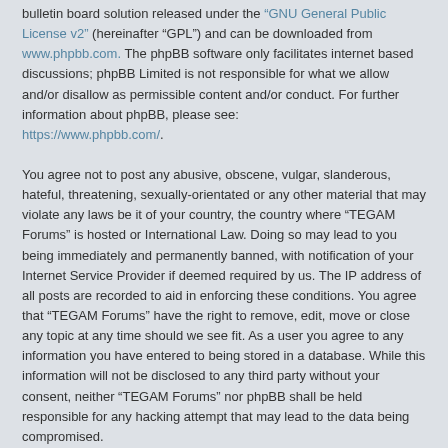bulletin board solution released under the "GNU General Public License v2" (hereinafter "GPL") and can be downloaded from www.phpbb.com. The phpBB software only facilitates internet based discussions; phpBB Limited is not responsible for what we allow and/or disallow as permissible content and/or conduct. For further information about phpBB, please see: https://www.phpbb.com/.
You agree not to post any abusive, obscene, vulgar, slanderous, hateful, threatening, sexually-orientated or any other material that may violate any laws be it of your country, the country where “TEGAM Forums” is hosted or International Law. Doing so may lead to you being immediately and permanently banned, with notification of your Internet Service Provider if deemed required by us. The IP address of all posts are recorded to aid in enforcing these conditions. You agree that “TEGAM Forums” have the right to remove, edit, move or close any topic at any time should we see fit. As a user you agree to any information you have entered to being stored in a database. While this information will not be disclosed to any third party without your consent, neither “TEGAM Forums” nor phpBB shall be held responsible for any hacking attempt that may lead to the data being compromised.
Board index | Contact us | Delete cookies | All times are UTC-04:00 | Powered by phpBB® Forum Software © phpBB Limited | Privacy | Terms